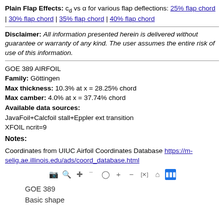Plain Flap Effects: cd vs α for various flap deflections: 25% flap chord | 30% flap chord | 35% flap chord | 40% flap chord
Disclaimer: All information presented herein is delivered without guarantee or warranty of any kind. The user assumes the entire risk of use of this information.
GOE 389 AIRFOIL
Family: Göttingen
Max thickness: 10.3% at x = 28.25% chord
Max camber: 4.0% at x = 37.74% chord
Available data sources:
JavaFoil+Calcfoil stall+Eppler ext transition
XFOIL ncrit=9
Notes:
Coordinates from UIUC Airfoil Coordinates Database https://m-selig.ae.illinois.edu/ads/coord_database.html
[Figure (other): Toolbar with chart navigation icons: camera, zoom, pan, select, lasso, plus, minus, resize, home, bar-chart]
GOE 389
Basic shape